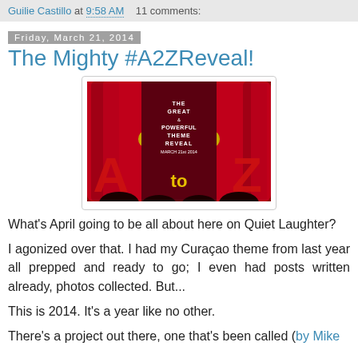Guilie Castillo at 9:58 AM    11 comments:
Friday, March 21, 2014
The Mighty #A2ZReveal!
[Figure (photo): Theater curtain image with text: THE GREAT & POWERFUL THEME REVEAL MARCH 21st 2014 A to Z]
What's April going to be all about here on Quiet Laughter?
I agonized over that. I had my Curaçao theme from last year all prepped and ready to go; I even had posts written already, photos collected. But...
This is 2014. It's a year like no other.
There's a project out there, one that's been called (by Mike